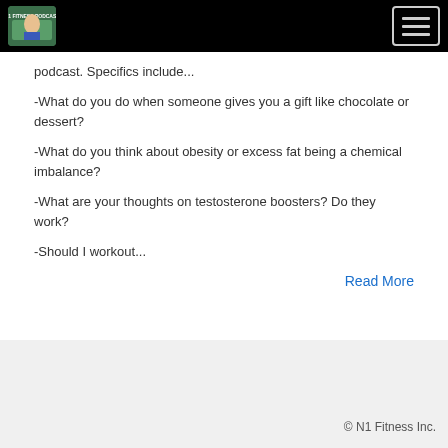N1 Fitness Podcast
podcast. Specifics include...
-What do you do when someone gives you a gift like chocolate or dessert?
-What do you think about obesity or excess fat being a chemical imbalance?
-What are your thoughts on testosterone boosters? Do they work?
-Should I workout...
Read More
© N1 Fitness Inc.